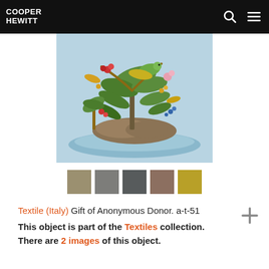COOPER HEWITT
[Figure (photo): Textile artwork showing tropical birds and flowers on a rock island surrounded by water, painted on light blue background]
[Figure (infographic): Five color swatches extracted from the artwork: tan/khaki, medium gray, dark gray, mauve/brown, olive yellow]
Textile (Italy) Gift of Anonymous Donor. a-t-51
This object is part of the Textiles collection. There are 2 images of this object.